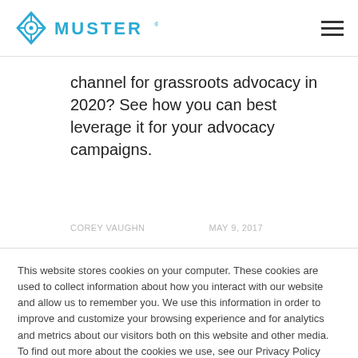[Figure (logo): Muster logo with diamond/compass icon in blue and the word MUSTER in blue sans-serif text]
channel for grassroots advocacy in 2020? See how you can best leverage it for your advocacy campaigns.
COREY VAUGHN    MAY 9, 2017
This website stores cookies on your computer. These cookies are used to collect information about how you interact with our website and allow us to remember you. We use this information in order to improve and customize your browsing experience and for analytics and metrics about our visitors both on this website and other media. To find out more about the cookies we use, see our Privacy Policy